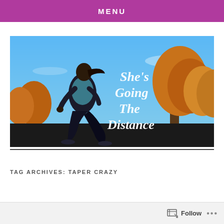MENU
[Figure (photo): A woman running outdoors against a blue sky with autumn trees. White handwritten text reads 'She's Going The Distance'.]
TAG ARCHIVES: TAPER CRAZY
Follow ...